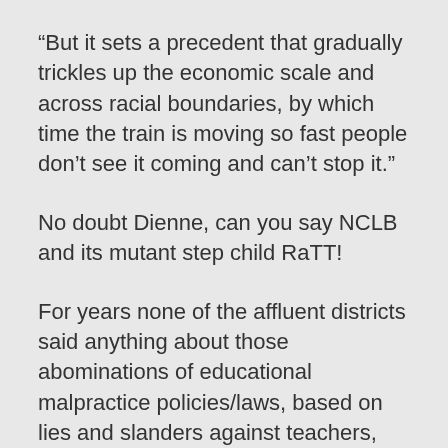“But it sets a precedent that gradually trickles up the economic scale and across racial boundaries, by which time the train is moving so fast people don’t see it coming and can’t stop it.”
No doubt Dienne, can you say NCLB and its mutant step child RaTT!
For years none of the affluent districts said anything about those abominations of educational malpractice policies/laws, based on lies and slanders against teachers,